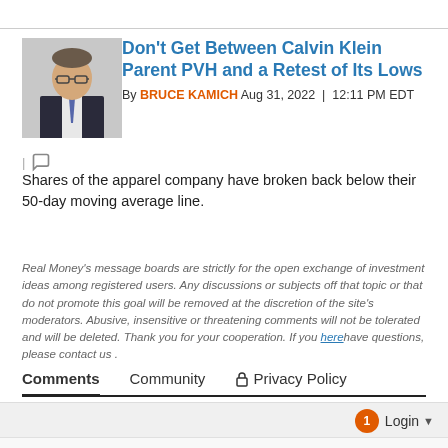Don't Get Between Calvin Klein Parent PVH and a Retest of Its Lows
By BRUCE KAMICH Aug 31, 2022 | 12:11 PM EDT
Shares of the apparel company have broken back below their 50-day moving average line.
Real Money's message boards are strictly for the open exchange of investment ideas among registered users. Any discussions or subjects off that topic or that do not promote this goal will be removed at the discretion of the site's moderators. Abusive, insensitive or threatening comments will not be tolerated and will be deleted. Thank you for your cooperation. If you here have questions, please contact us .
Comments   Community   Privacy Policy